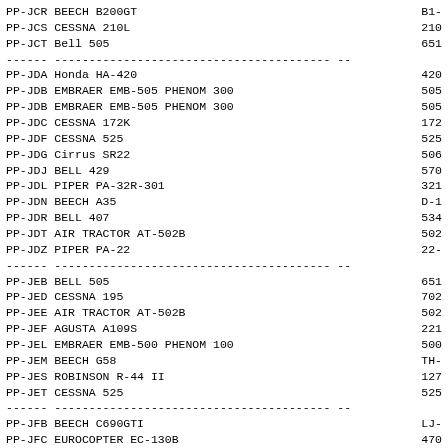PP-JCR BEECH B200GT  B1-
PP-JCS CESSNA 210L  210
PP-JCT Bell 505  651
--- divider ---
PP-JDA Honda HA-420  420
PP-JDB EMBRAER EMB-505 PHENOM 300  505
PP-JDB EMBRAER EMB-505 PHENOM 300  505
PP-JDC CESSNA 172K  172
PP-JDF CESSNA 525  525
PP-JDG Cirrus SR22  506
PP-JDJ BELL 429  570
PP-JDL PIPER PA-32R-301  321
PP-JDN BEECH A35  D-1
PP-JDR BELL 407  534
PP-JDT AIR TRACTOR AT-502B  502
PP-JDZ PIPER PA-22  22-
--- divider ---
PP-JEB BELL 505  651
PP-JED CESSNA 195  702
PP-JEE AIR TRACTOR AT-502B  502
PP-JEF AGUSTA A109S  221
PP-JEL EMBRAER EMB-500 PHENOM 100  500
PP-JEM BEECH G58  TH-
PP-JES ROBINSON R-44 II  127
PP-JET CESSNA 525  525
--- divider ---
PP-JFB BEECH C690GTI  LJ-
PP-JFC EUROCOPTER EC-130B  470
PP-JFF PIPER PA-46-500TP  469
PP-JFG PIPER PA-28-140  28-
PP-JFH GULFSTREAM G550  533
PP-JFJ BEECH C90GTI  LJ-
PP-JFL Diamond DA-62  ...